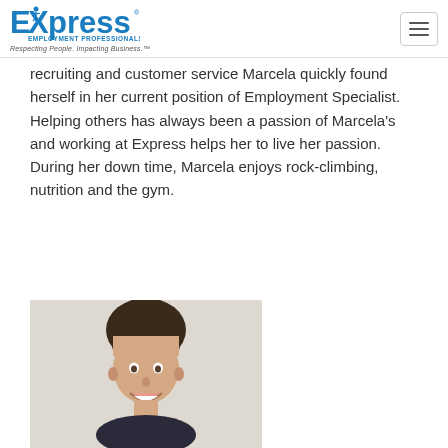Express Employment Professionals — Respecting People. Impacting Business.
recruiting and customer service Marcela quickly found herself in her current position of Employment Specialist. Helping others has always been a passion of Marcela's and working at Express helps her to live her passion. During her down time, Marcela enjoys rock-climbing, nutrition and the gym.
Email Marcela Lopez
[Figure (photo): Headshot photo of a young man with dark hair, smiling, against a light beige background, wearing a dark patterned top.]